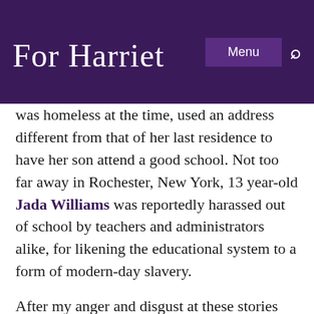For Harriet | Menu [search]
was homeless at the time, used an address different from that of her last residence to have her son attend a good school. Not too far away in Rochester, New York, 13 year-old Jada Williams was reportedly harassed out of school by teachers and administrators alike, for likening the educational system to a form of modern-day slavery.

After my anger and disgust at these stories subsided, I was able to sit back and currently reflect on what such occurrences are telling us about the current time we live in, in